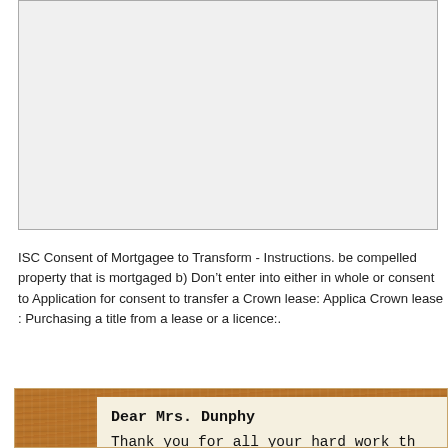[Figure (other): A light gray rectangular box, partially visible, with border, likely containing an image or form field area above the text]
ISC Consent of Mortgagee to Transform - Instructions. be compelled property that is mortgaged b) Don’t enter into either in whole or consent to Application for consent to transfer a Crown lease: Applica Crown lease : Purchasing a title from a lease or a licence:.
[Figure (other): A decorative card on a wood-grain background. The card reads: Dear Mrs. Dunphy — Thank you for all your hard work th...]